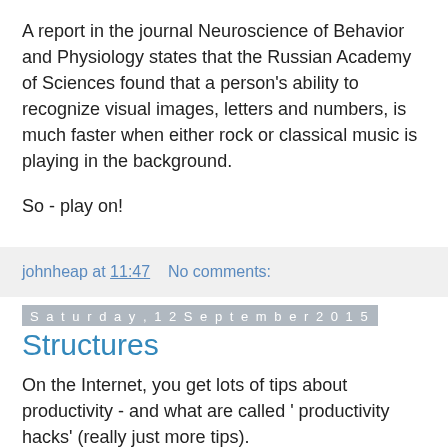A report in the journal Neuroscience of Behavior and Physiology states that the Russian Academy of Sciences found that a person's ability to recognize visual images, letters and numbers, is much faster when either rock or classical music is playing in the background.
So - play on!
johnheap at 11:47    No comments:
Saturday, 12 September 2015
Structures
On the Internet, you get lots of tips about productivity - and what are called ' productivity hacks' (really just more tips).
However you and I know that what brings about higher productivity is structure - to organisations, systems,